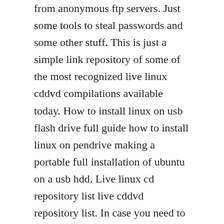from anonymous ftp servers. Just some tools to steal passwords and some other stuff. This is just a simple link repository of some of the most recognized live linux cddvd compilations available today. How to install linux on usb flash drive full guide how to install linux on pendrive making a portable full installation of ubuntu on a usb hdd. Live linux cd repository list live cddvd repository list. In case you need to make usb foundation media from bootable isos for windows, linux, and uefi. Apr 29, 2020 yumi was originally intended to be used to store and run various